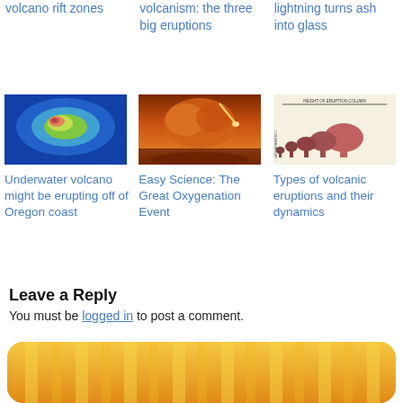volcano rift zones
volcanism: the three big eruptions
lightning turns ash into glass
[Figure (photo): Thermal/satellite image of an underwater volcano, false-color (blue/green/red hues)]
[Figure (photo): Orange-hued atmospheric scene with comet or volcanic eruption, dramatic sky]
[Figure (illustration): Diagram showing types of volcanic eruptions and their dynamics, with labeled eruption columns of varying heights]
Underwater volcano might be erupting off of Oregon coast
Easy Science: The Great Oxygenation Event
Types of volcanic eruptions and their dynamics
Leave a Reply
You must be logged in to post a comment.
[Figure (other): Subscribe on RSS banner button with orange/yellow gradient and vertical stripe pattern]